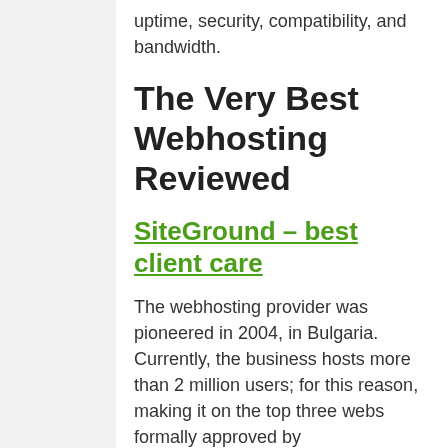uptime, security, compatibility, and bandwidth.
The Very Best Webhosting Reviewed
SiteGround – best client care
The webhosting provider was pioneered in 2004, in Bulgaria. Currently, the business hosts more than 2 million users; for this reason, making it on the top three webs formally approved by WordPress.org. SiteGround is amongst